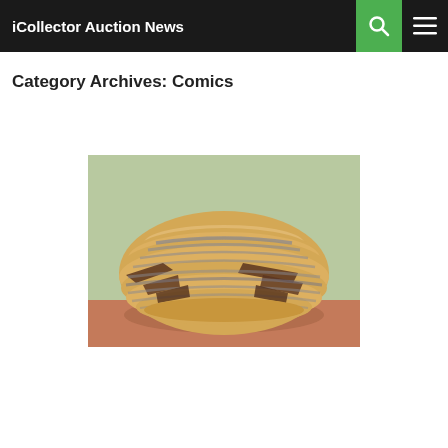iCollector Auction News
Category Archives: Comics
[Figure (photo): A woven Native American style basket with geometric patterns in brown, gray, and tan coils, sitting on a brick surface outdoors with greenery in the background.]